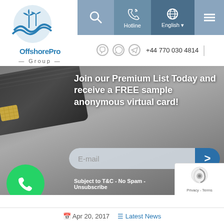[Figure (logo): OffshorePro Group logo with blue wave and palm trees]
Hotline | English | Menu icons | +44 770 030 4814
[Figure (illustration): Dark metallic credit card hero banner with email subscription form]
Join our Premium List Today and receive a FREE sample anonymous virtual card!
Subject to T&C - No Spam - Unsubscribe
[Figure (logo): WhatsApp green circle icon]
Apr 20, 2017  Latest News